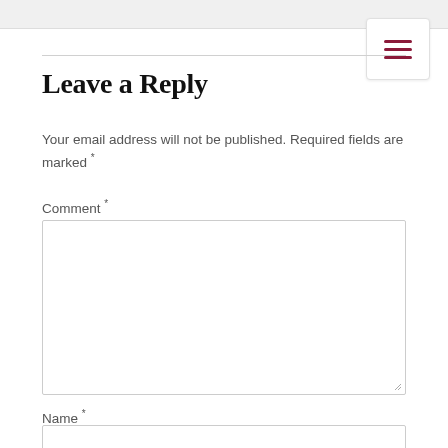[Figure (other): Hamburger menu icon button with three dark red horizontal lines on white rounded rectangle background]
Leave a Reply
Your email address will not be published. Required fields are marked *
Comment *
Name *